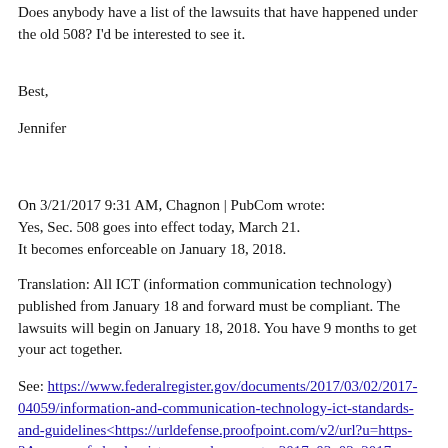Does anybody have a list of the lawsuits that have happened under the old 508? I'd be interested to see it.
Best,

Jennifer
On 3/21/2017 9:31 AM, Chagnon | PubCom wrote:
Yes, Sec. 508 goes into effect today, March 21.
It becomes enforceable on January 18, 2018.
Translation: All ICT (information communication technology) published from January 18 and forward must be compliant. The lawsuits will begin on January 18, 2018. You have 9 months to get your act together.
See: https://www.federalregister.gov/documents/2017/03/02/2017-04059/information-and-communication-technology-ict-standards-and-guidelines<https://urldefense.proofpoint.com/v2/url?u=https-3A__www.federalregister.gov_documents_2017_03_02_2017-2D04059_information-2Dand-2Dcommunication-2Dtechnology-2Dict-2Dstandards-2Dand